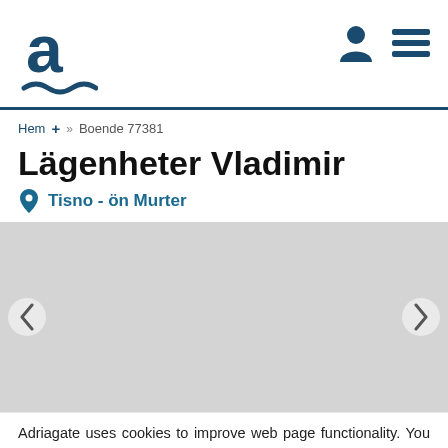Adriagate logo, user icon, hamburger menu
Hem + » Boende 77381
Lägenheter Vladimir
Tisno - ön Murter
[Figure (photo): Gray placeholder image area for property photos with left and right carousel navigation arrows]
Adriagate uses cookies to improve web page functionality. You agree with the terms by further use of our web page. Read more about cookies on:
Privacy Policy   Stäng